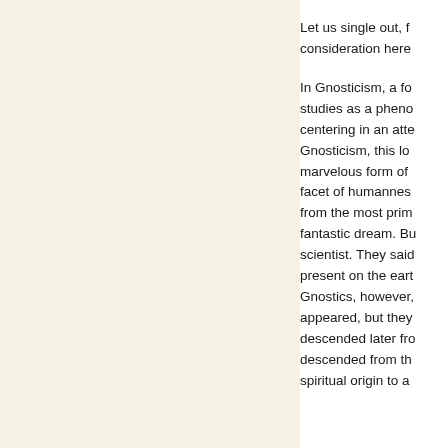Let us single out, for consideration here
In Gnosticism, a for studies as a pheno centering in an atte Gnosticism, this lon marvelous form of facet of humannes from the most prim fantastic dream. Bu scientist. They said present on the eart Gnostics, however, appeared, but they descended later fro descended from th spiritual origin to a